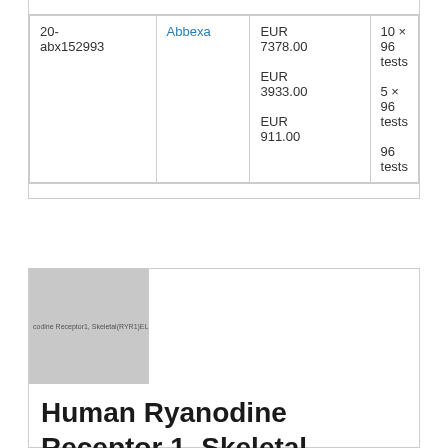| ID | Vendor | Price | Size |
| --- | --- | --- | --- |
| 20-abx152993 | Abbexa | EUR 7378.00
EUR 3933.00
EUR 911.00 | 10 × 96 tests
5 × 96 tests
96 tests |
[Figure (photo): Product thumbnail image for Human Ryanodine Receptor 1, Skeletal (RYR1) ELISA Kit showing a grey placeholder with text 'codine Receptor1, Skeletal(RYR1)EL']
Human Ryanodine Receptor 1, Skeletal (RYR1) ELISA Kit